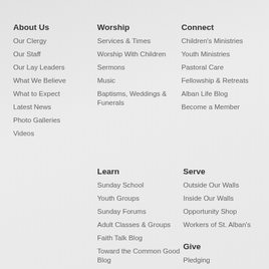About Us
Our Clergy
Our Staff
Our Lay Leaders
What We Believe
What to Expect
Latest News
Photo Galleries
Videos
Worship
Services & Times
Worship With Children
Sermons
Music
Baptisms, Weddings & Funerals
Connect
Children's Ministries
Youth Ministries
Pastoral Care
Fellowship & Retreats
Alban Life Blog
Become a Member
Learn
Sunday School
Youth Groups
Sunday Forums
Adult Classes & Groups
Faith Talk Blog
Toward the Common Good Blog
Resources
Serve
Outside Our Walls
Inside Our Walls
Opportunity Shop
Workers of St. Alban's
Give
Pledging
Planned Giving